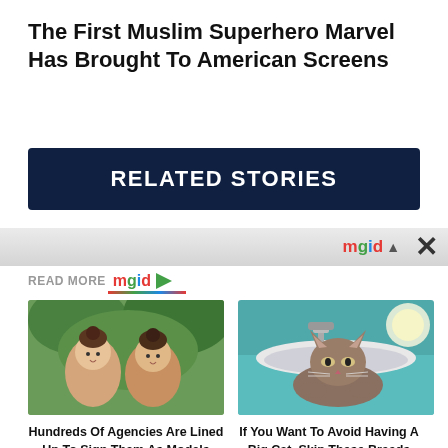The First Muslim Superhero Marvel Has Brought To American Screens
RELATED STORIES
[Figure (screenshot): mgid advertisement strip with close button]
READ MORE mgid
[Figure (photo): Two young girls with hair up, posing outdoors among green plants]
[Figure (photo): A brown cat sitting in a bathroom sink, looking at the camera]
Hundreds Of Agencies Are Lined Up To Sign Them As Models
If You Want To Avoid Having A Big Cat, Skip These Breeds